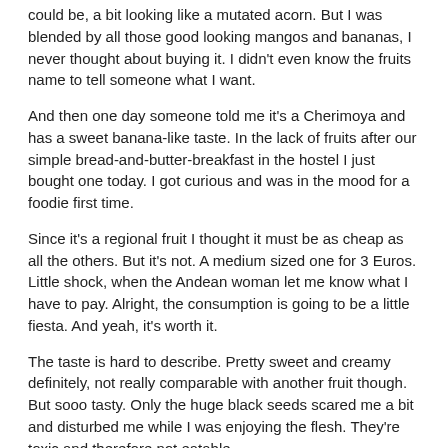could be, a bit looking like a mutated acorn. But I was blended by all those good looking mangos and bananas, I never thought about buying it. I didn't even know the fruits name to tell someone what I want.
And then one day someone told me it's a Cherimoya and has a sweet banana-like taste. In the lack of fruits after our simple bread-and-butter-breakfast in the hostel I just bought one today. I got curious and was in the mood for a foodie first time.
Since it's a regional fruit I thought it must be as cheap as all the others. But it's not. A medium sized one for 3 Euros. Little shock, when the Andean woman let me know what I have to pay. Alright, the consumption is going to be a little fiesta. And yeah, it's worth it.
The taste is hard to describe. Pretty sweet and creamy definitely, not really comparable with another fruit though. But sooo tasty. Only the huge black seeds scared me a bit and disturbed me while I was enjoying the flesh. They're toxic and therefore not eatable.
Regarding the price it seems like it will be a unique experience for a while, but I'll have another one before I return home for sure.